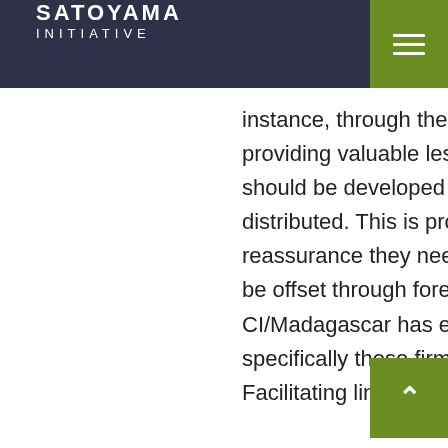SATOYAMA INITIATIVE
instance, through the forest carbon projects at CAZ, CI is providing valuable lessons about how the carbon market should be developed and how carbon revenue can be distributed. This is providing potential buyers with the reassurance they need that their carbon emissions will truly be offset through forest carbon projects. In addition, CI/Madagascar has engaged the tourism industry, specifically those firms focused on responsible tourism. Facilitating linkages between them and